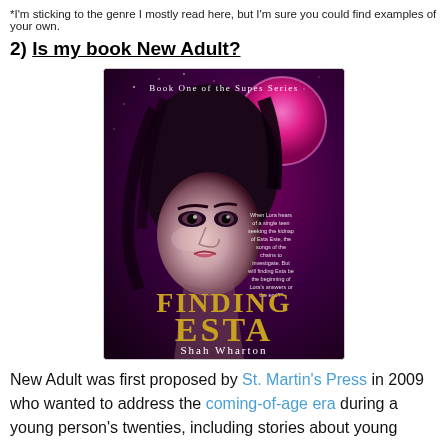*I'm sticking to the genre I mostly read here, but I'm sure you could find examples of your own.
2) Is my book New Adult?
[Figure (photo): Book cover of 'Finding Esta' by Shah Wharton, Book One of the Supes Series. Features a young woman's face with dramatic makeup against a pink/magenta backdrop with a large glowing moon. Title in gold decorative lettering, author name in white at bottom.]
New Adult was first proposed by St. Martin's Press in 2009 who wanted to address the coming-of-age era during a young person's twenties, including stories about young